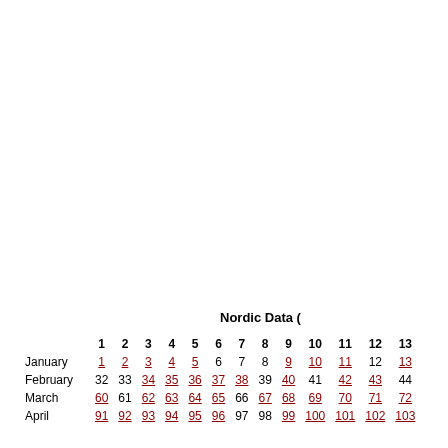Nordic Data (
|  | 1 | 2 | 3 | 4 | 5 | 6 | 7 | 8 | 9 | 10 | 11 | 12 | 13 |
| --- | --- | --- | --- | --- | --- | --- | --- | --- | --- | --- | --- | --- | --- |
| January | 1 | 2 | 3 | 4 | 5 | 6 | 7 | 8 | 9 | 10 | 11 | 12 | 13 |
| February | 32 | 33 | 34 | 35 | 36 | 37 | 38 | 39 | 40 | 41 | 42 | 43 | 44 |
| March | 60 | 61 | 62 | 63 | 64 | 65 | 66 | 67 | 68 | 69 | 70 | 71 | 72 |
| April | 91 | 92 | 93 | 94 | 95 | 96 | 97 | 98 | 99 | 100 | 101 | 102 | 103 |